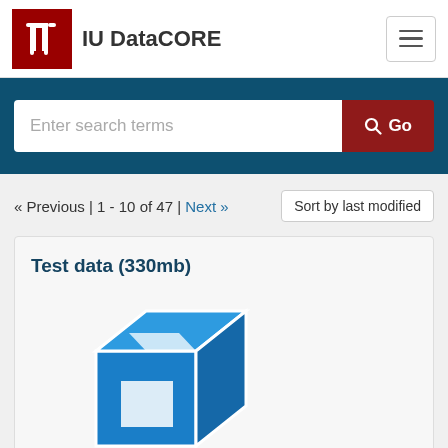IU DataCORE
Enter search terms  Go
« Previous | 1 - 10 of 47 | Next »
Sort by last modified
Test data (330mb)
[Figure (illustration): Blue 3D cube icon representing a dataset]